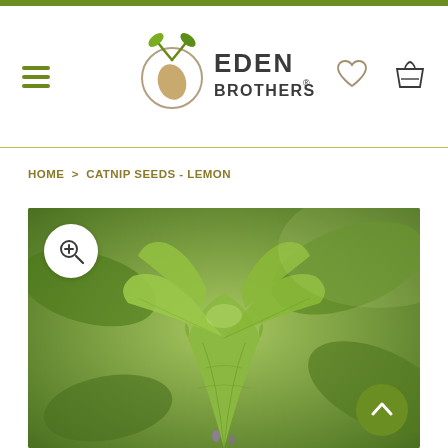[Figure (logo): Eden Brothers seed company logo with plant sprout icon and circular seed emblem]
HOME > CATNIP SEEDS - LEMON
[Figure (photo): Close-up photograph of lemon catnip plant leaves showing textured green foliage with serrated edges]